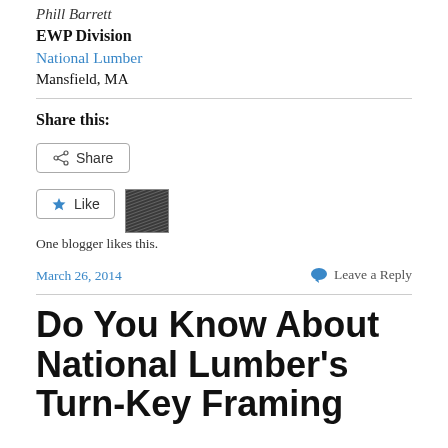Phill Barrett
EWP Division
National Lumber
Mansfield, MA
Share this:
[Figure (other): Share button with share icon]
[Figure (other): Like button with star icon and a blogger avatar thumbnail]
One blogger likes this.
March 26, 2014
Leave a Reply
Do You Know About National Lumber's Turn-Key Framing